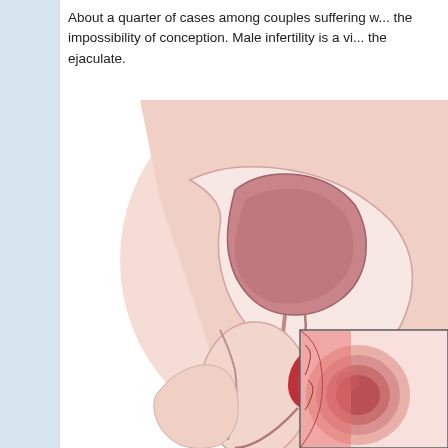About a quarter of cases among couples suffering with... the impossibility of conception. Male infertility is a vi... the ejaculate.
[Figure (illustration): Medical cross-section illustration of male reproductive anatomy showing a sagittal view with highlighted epididymis/testicular structure in red/crimson, connected by a line pointer to a magnified inset showing internal tissue cross-section. The main image shows the bladder, prostate region, epididymis, and surrounding anatomy in pink/peach tones on white background. An inset in the lower right shows a magnified cross-section of tubular tissue in red and pink tones.]